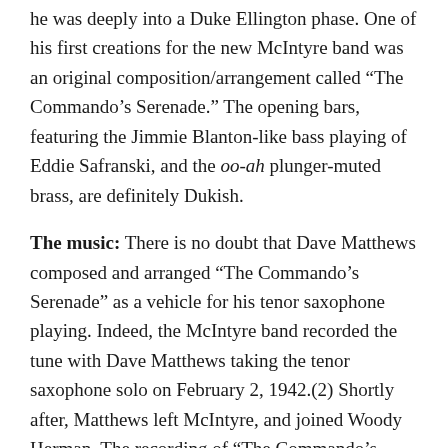he was deeply into a Duke Ellington phase. One of his first creations for the new McIntyre band was an original composition/arrangement called “The Commando’s Serenade.” The opening bars, featuring the Jimmie Blanton-like bass playing of Eddie Safranski, and the oo-ah plunger-muted brass, are definitely Dukish.
The music: There is no doubt that Dave Matthews composed and arranged “The Commando’s Serenade” as a vehicle for his tenor saxophone playing. Indeed, the McIntyre band recorded the tune with Dave Matthews taking the tenor saxophone solo on February 2, 1942.(2) Shortly after, Matthews left McIntyre, and joined Woody Herman. The recording of “The Commando’s Serenade” presented with this post was recorded shortly after Matthews left. The tenor saxophone solo on this recording, which is very much in the Matthews mode (which was